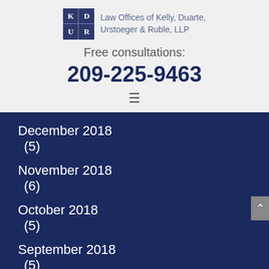[Figure (logo): KD UR monogram logo for Law Offices of Kelly, Duarte, Urstoeger & Ruble, LLP]
Law Offices of Kelly, Duarte, Urstoeger & Ruble, LLP
Free consultations:
209-225-9463
December 2018 (5)
November 2018 (6)
October 2018 (5)
September 2018 (5)